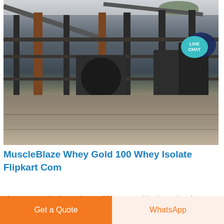[Figure (photo): Industrial facility or mining/quarry plant with large metal structures, columns, conveyor belts, and heavy machinery. A 'LIVE CHAT' badge overlay appears in the top-right corner of the image.]
MuscleBlaze Whey Gold 100 Whey Isolate Flipkart Com
The new MuscleBlaze Whey Gold is powered by the purity of
Get a Quote
WhatsApp